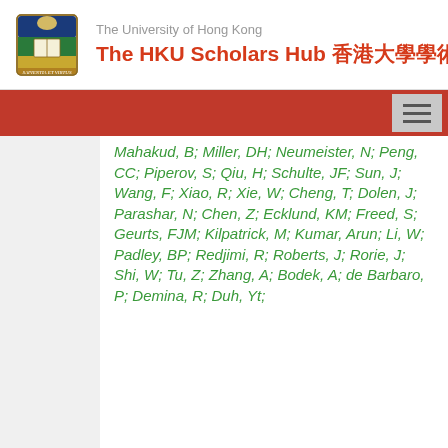The University of Hong Kong — The HKU Scholars Hub 香港大學學術庫
Mahakud, B; Miller, DH; Neumeister, N; Peng, CC; Piperov, S; Qiu, H; Schulte, JF; Sun, J; Wang, F; Xiao, R; Xie, W; Cheng, T; Dolen, J; Parashar, N; Chen, Z; Ecklund, KM; Freed, S; Geurts, FJM; Kilpatrick, M; Kumar, Arun; Li, W; Padley, BP; Redjimi, R; Roberts, J; Rorie, J; Shi, W; Tu, Z; Zhang, A; Bodek, A; de Barbaro, P; Demina, R; Duh, Yt;